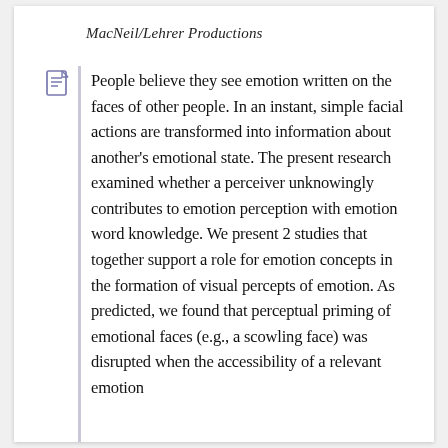MacNeil/Lehrer Productions
People believe they see emotion written on the faces of other people. In an instant, simple facial actions are transformed into information about another's emotional state. The present research examined whether a perceiver unknowingly contributes to emotion perception with emotion word knowledge. We present 2 studies that together support a role for emotion concepts in the formation of visual percepts of emotion. As predicted, we found that perceptual priming of emotional faces (e.g., a scowling face) was disrupted when the accessibility of a relevant emotion